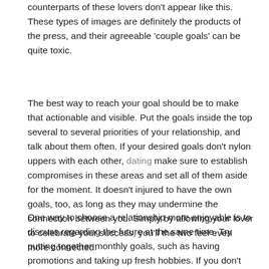examples of what you're aiming for. However, the real-life counterparts of these lovers don't appear like this. These types of images are definitely the products of the press, and their agreeable 'couple goals' can be quite toxic.
The best way to reach your goal should be to make that actionable and visible. Put the goals inside the top several to several priorities of your relationship, and talk about them often. If your desired goals don't nylon uppers with each other, dating make sure to establish compromises in these areas and set all of them aside for the moment. It doesn't injured to have the own goals, too, as long as they may undermine the connection between you. Simply by allowing your lover to celebrate your success, you'll the two feel even more connected.
One way to choose a relationship more enjoyable is to discuss regarding the future at the same time. Try putting together monthly goals, such as having promotions and taking up fresh hobbies. If you don't have children, you may plan a couple outing together. Should you have children, you can plan monthly or perhaps weekly friends and family gatherings. Having fun together is vital into a relationship, thus don't